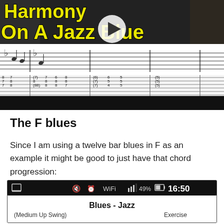[Figure (screenshot): Video thumbnail showing a guitar lesson titled 'Harmony on A Jazz Blues' with sheet music notation and guitar tablature below, plus a play button overlay. Yellow bold text on dark background.]
The F blues
Since I am using a twelve bar blues in F as an example it might be good to just have that chord progression:
[Figure (screenshot): Mobile app screenshot showing status bar with time 16:50, 49% battery, and the beginning of a sheet music app showing 'Blues - Jazz' title, '(Medium Up Swing)' tempo marking, and 'Exercise' label.]